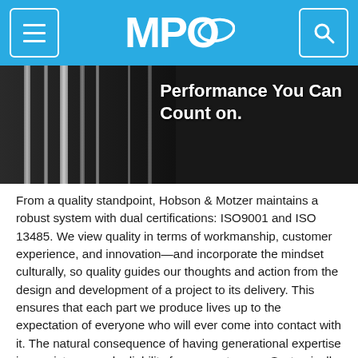MPO
[Figure (photo): Dark background image of metallic mechanical/surgical components with white bold text overlay reading: 'Performance You Can Count on.']
From a quality standpoint, Hobson & Motzer maintains a robust system with dual certifications: ISO9001 and ISO 13485. We view quality in terms of workmanship, customer experience, and innovation—and incorporate the mindset culturally, so quality guides our thoughts and action from the design and development of a project to its delivery. This ensures that each part we produce lives up to the expectation of everyone who will ever come into contact with it. The natural consequence of having generational expertise is consistency and reliability for our customers. Systemically documenting tribal knowledge that can be passed down is a powerful tool; where this level of